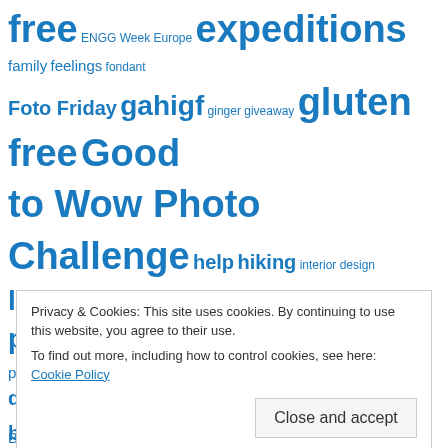[Figure (other): Tag cloud with various blog tags in different sizes in blue color: free, ENGG Week Europe, expeditions, family, feelings, fondant, Foto Friday, gahigf, ginger, giveaway, gluten free, Good to Wow Photo Challenge, help, hiking, interior design, love, meal ideas, muffins, night photography, pancakes, peanuts, Pear, Photography Course, pies, prayer, pumpkin, quick breads, rant, raspberries, raw, refined sugar free, salad, Secret Recipe Club, Selfie Saturdays, silly, snow, SOOC, soy free, strawberries, stuff, Sweden, thank you, To do, tutorials]
Privacy & Cookies: This site uses cookies. By continuing to use this website, you agree to their use.
To find out more, including how to control cookies, see here: Cookie Policy
Close and accept
Baking (133)